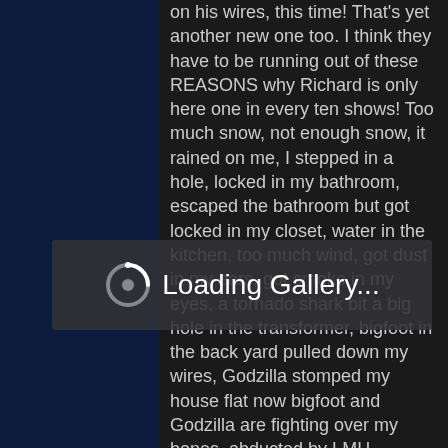on his wires, this time! That's yet another new one too. I think they have to be running out of these REASONS why Richard is only here one in every ten shows! Too much snow, not enough snow, it rained on me, I stepped in a hole, locked in my bathroom, escaped the bathroom but got locked in my closet, water in the kitchen, too much wind, got dust in my ears, got smoke in my eyes, a tornado shark bit a big hole in the transformer, bigfoot in the back yard pulled down my wires, Godzilla stomped my house flat now bigfoot and Godzilla are fighting over my bones, abducted by LMH, escaped LMH but in custody for breaking her window
[Figure (screenshot): Loading Gallery... overlay with a circular loading spinner icon on a semi-transparent dark background]